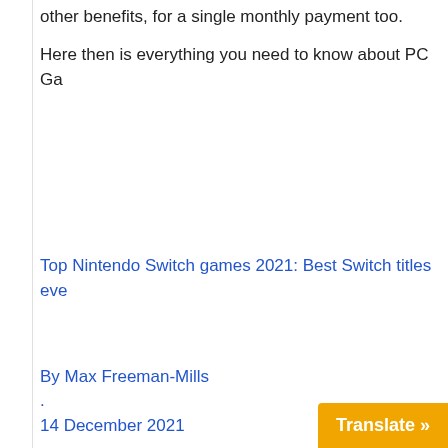other benefits, for a single monthly payment too.
Here then is everything you need to know about PC Ga
Top Nintendo Switch games 2021: Best Switch titles eve
By Max Freeman-Mills
.
14 December 2021
What is PC Game Pass?